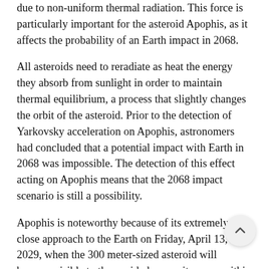due to non-uniform thermal radiation. This force is particularly important for the asteroid Apophis, as it affects the probability of an Earth impact in 2068.
All asteroids need to reradiate as heat the energy they absorb from sunlight in order to maintain thermal equilibrium, a process that slightly changes the orbit of the asteroid. Prior to the detection of Yarkovsky acceleration on Apophis, astronomers had concluded that a potential impact with Earth in 2068 was impossible. The detection of this effect acting on Apophis means that the 2068 impact scenario is still a possibility.
Apophis is noteworthy because of its extremely close approach to the Earth on Friday, April 13, 2029, when the 300 meter-sized asteroid will become visible to the unaided eye as it passes within the belt of communications satellites orbiting the Earth.
“We have known for some time that an impact with Earth is not possible during the 2029 close approach,” said Tholen, who